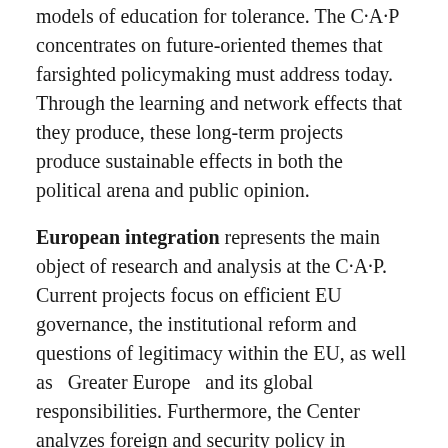models of education for tolerance. The C·A·P concentrates on future-oriented themes that farsighted policymaking must address today. Through the learning and network effects that they produce, these long-term projects produce sustainable effects in both the political arena and public opinion.
European integration represents the main object of research and analysis at the C·A·P. Current projects focus on efficient EU governance, the institutional reform and questions of legitimacy within the EU, as well as “Greater Europe” and its global responsibilities. Furthermore, the Center analyzes foreign and security policy in Southern and Eastern Europe, conflicts in the Middle East, as well as the EU’s global role as a partner for the United States and Asia. Additional research focuses on the attitudes of young people toward European integration.
Within the subject area of Modern Governance, the